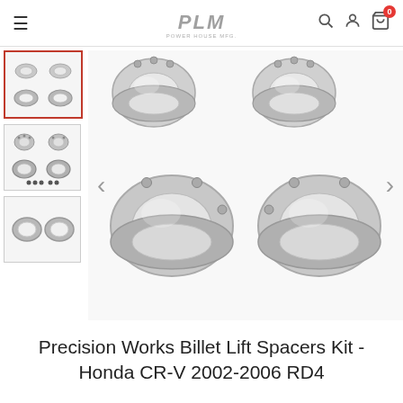PLM Power House Mfg. navigation bar with search, account, and cart icons
[Figure (photo): Thumbnail 1 (selected): Four silver billet lift spacers kit components arranged in a 2x2 grid, small size view]
[Figure (photo): Thumbnail 2: Four silver billet lift spacers components, slightly larger, with dot indicators below]
[Figure (photo): Thumbnail 3: Two silver ring-shaped lift spacer components]
[Figure (photo): Main product image: Four polished silver billet aluminum lift spacers for Honda CR-V, two larger (bottom) and two smaller (top), shown against white background]
Precision Works Billet Lift Spacers Kit - Honda CR-V 2002-2006 RD4